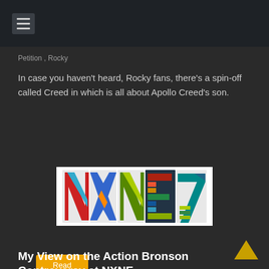≡ (hamburger menu icon)
Petition, Rocky
In case you haven't heard, Rocky fans, there's a spin-off called Creed in which is all about Apollo Creed's son.
Read more
[Figure (logo): NXNE colorful logo with stylized letters N, X, N, E, 7 in red, blue, orange, green, yellow, teal colors on white background]
Controversy
My View on the Action Bronson Controversy at NXNE
June 5, 2015   Alan Cross   0 Comments   Action